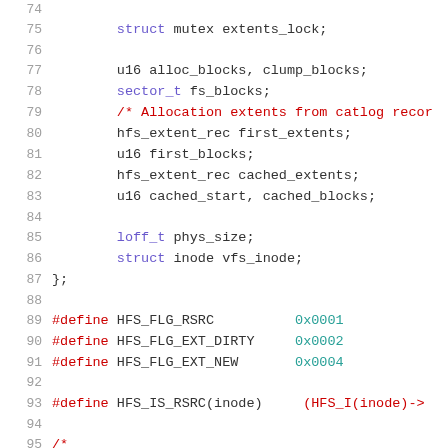Source code listing lines 74-95, C language, HFS filesystem inode structure and macro definitions
74: (blank)
75:     struct mutex extents_lock;
76: (blank)
77:     u16 alloc_blocks, clump_blocks;
78:     sector_t fs_blocks;
79:     /* Allocation extents from catlog record
80:     hfs_extent_rec first_extents;
81:     u16 first_blocks;
82:     hfs_extent_rec cached_extents;
83:     u16 cached_start, cached_blocks;
84: (blank)
85:     loff_t phys_size;
86:     struct inode vfs_inode;
87: };
88: (blank)
89: #define HFS_FLG_RSRC        0x0001
90: #define HFS_FLG_EXT_DIRTY   0x0002
91: #define HFS_FLG_EXT_NEW     0x0004
92: (blank)
93: #define HFS_IS_RSRC(inode)  (HFS_I(inode)->
94: (blank)
95: /*